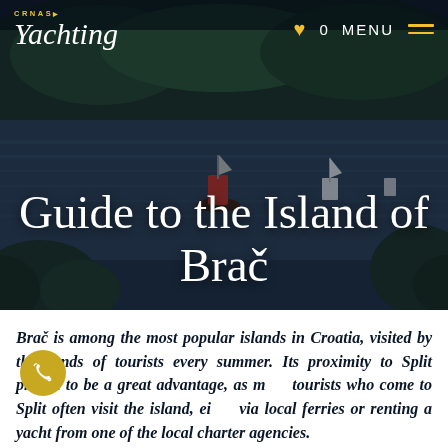[Figure (photo): Hero image of a Croatian island bay with boats sailing on blue water, forested hillside in background, dark navy overlay with navigation bar and title text overlay.]
Guide to the Island of Brač
Brač is among the most popular islands in Croatia, visited by thousands of tourists every summer. Its proximity to Split proved to be a great advantage, as many tourists who come to Split often visit the island, either via local ferries or renting a yacht from one of the local charter agencies.